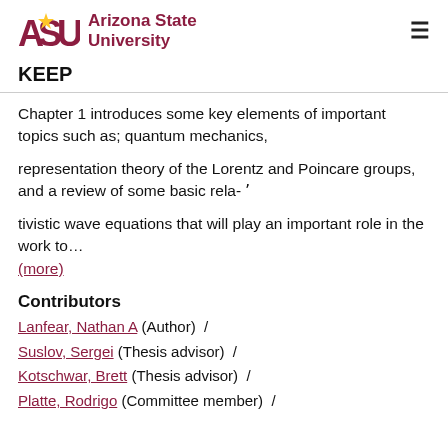Arizona State University — KEEP
Chapter 1 introduces some key elements of important topics such as; quantum mechanics,
representation theory of the Lorentz and Poincare groups, and a review of some basic rela-ʹ
tivistic wave equations that will play an important role in the work to…
(more)
Contributors
Lanfear, Nathan A (Author)  /
Suslov, Sergei (Thesis advisor)  /
Kotschwar, Brett (Thesis advisor)  /
Platte, Rodrigo (Committee member)  /